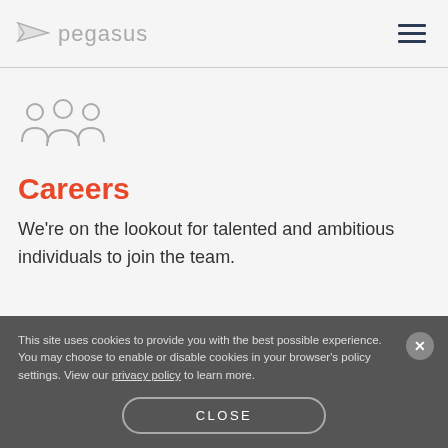pegasus
[Figure (illustration): Group of people icon (three figures silhouette outline)]
Careers
We're on the lookout for talented and ambitious individuals to join the team.
This site uses cookies to provide you with the best possible experience. You may choose to enable or disable cookies in your browser's policy settings. View our privacy policy to learn more.
CLOSE